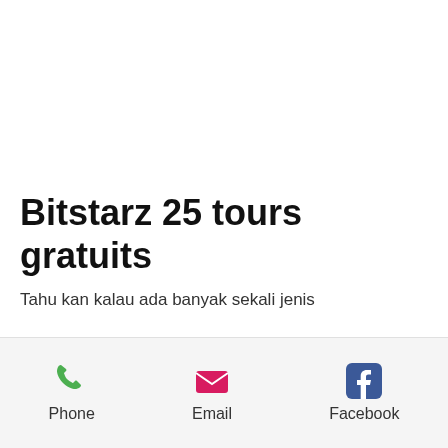Bitstarz 25 tours gratuits
Tahu kan kalau ada banyak sekali jenis
Phone
Email
Facebook